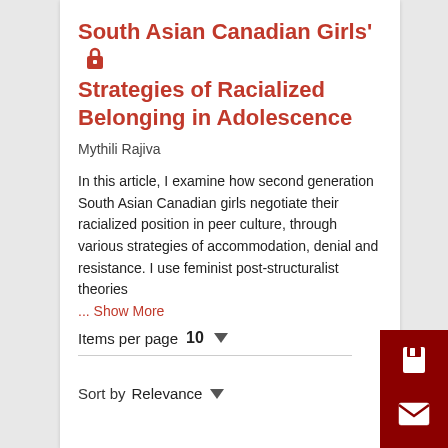South Asian Canadian Girls' Strategies of Racialized Belonging in Adolescence
Mythili Rajiva
In this article, I examine how second generation South Asian Canadian girls negotiate their racialized position in peer culture, through various strategies of accommodation, denial and resistance. I use feminist post-structuralist theories
... Show More
Items per page  10
Sort by  Relevance